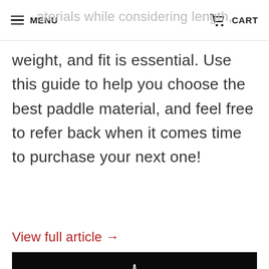MENU  CART
aterials while considering length, weight, and fit is essential. Use this guide to help you choose the best paddle material, and feel free to refer back when it comes time to purchase your next one!
View full article →
[Figure (photo): Night photo of a large commercial or military aircraft (front view) on a tarmac, with blue engine glow and city lights in the background against a dark sky.]